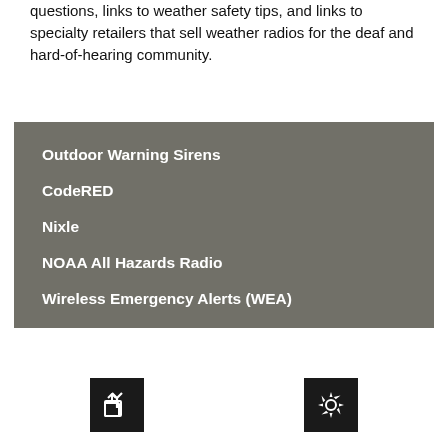questions, links to weather safety tips, and links to specialty retailers that sell weather radios for the deaf and hard-of-hearing community.
Outdoor Warning Sirens
CodeRED
Nixle
NOAA All Hazards Radio
Wireless Emergency Alerts (WEA)
[Figure (infographic): Two dark square icon buttons: a share icon and a settings/gear icon, at the bottom of the screen]